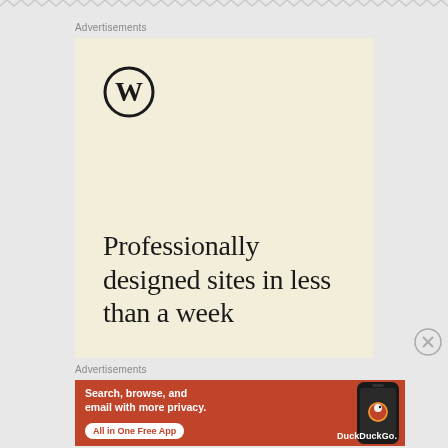Advertisements
[Figure (illustration): WordPress advertisement: cream/beige background with WordPress logo (W in circle) at top left and text 'Professionally designed sites in less than a week' in large serif font at bottom left]
Advertisements
[Figure (illustration): DuckDuckGo advertisement on orange-red background: 'Search, browse, and email with more privacy. All in One Free App' with a smartphone image and DuckDuckGo logo/name]